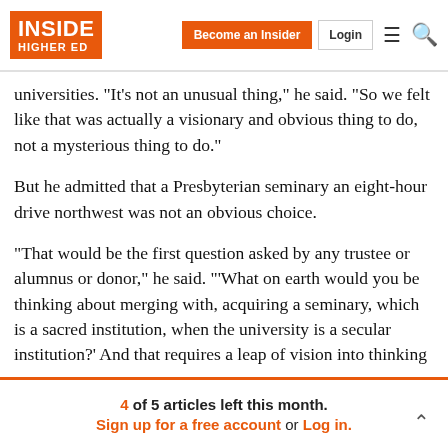INSIDE HIGHER ED | Become an Insider | Login
universities. “It’s not an unusual thing,” he said. “So we felt like that was actually a visionary and obvious thing to do, not a mysterious thing to do.”
But he admitted that a Presbyterian seminary an eight-hour drive northwest was not an obvious choice.
“That would be the first question asked by any trustee or alumnus or donor,” he said. ‘“What on earth would you be thinking about merging with, acquiring a seminary, which is a sacred institution, when the university is a secular institution?’ And that requires a leap of vision into thinking
4 of 5 articles left this month. Sign up for a free account or Log in.